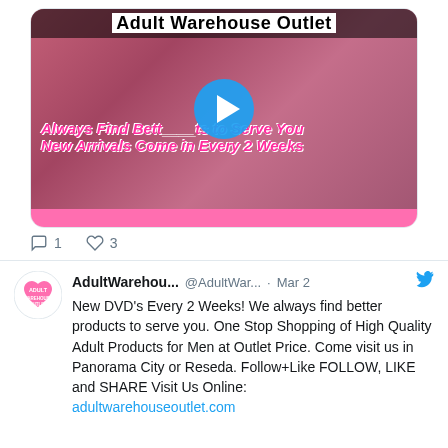[Figure (screenshot): Video thumbnail for Adult Warehouse Outlet showing promotional collage with play button overlay, pink text overlays reading 'Always Find Better Products to Serve You' and 'New Arrivals Come in Every 2 Weeks', with a pink bar at the bottom]
1   3
[Figure (logo): Adult Warehouse Outlet circular logo with heart shape and text]
AdultWarehous... @AdultWar... · Mar 2
New DVD's Every 2 Weeks! We always find better products to serve you. One Stop Shopping of High Quality Adult Products for Men at Outlet Price. Come visit us in Panorama City or Reseda. Follow+Like FOLLOW, LIKE and SHARE Visit Us Online:
adultwarehouseoutlet.com